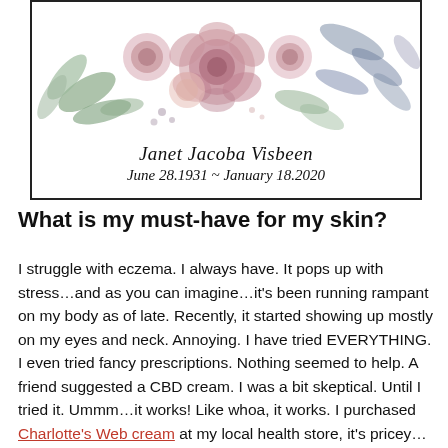[Figure (illustration): Memorial card with watercolor floral arrangement (pink roses, green leaves, blue-grey foliage) at top, bordered box containing the name Janet Jacoba Visbeen and dates June 28.1931 – January 18.2020]
What is my must-have for my skin?
I struggle with eczema. I always have. It pops up with stress…and as you can imagine…it's been running rampant on my body as of late. Recently, it started showing up mostly on my eyes and neck. Annoying. I have tried EVERYTHING. I even tried fancy prescriptions. Nothing seemed to help. A friend suggested a CBD cream. I was a bit skeptical. Until I tried it. Ummm…it works! Like whoa, it works. I purchased Charlotte's Web cream at my local health store, it's pricey… but you don't need much. I can't tell you how happy I am I